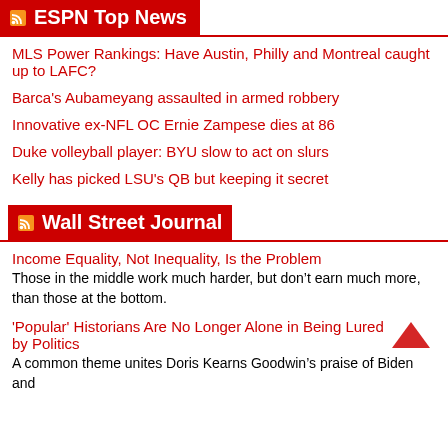ESPN Top News
MLS Power Rankings: Have Austin, Philly and Montreal caught up to LAFC?
Barca's Aubameyang assaulted in armed robbery
Innovative ex-NFL OC Ernie Zampese dies at 86
Duke volleyball player: BYU slow to act on slurs
Kelly has picked LSU's QB but keeping it secret
Wall Street Journal
Income Equality, Not Inequality, Is the Problem
Those in the middle work much harder, but don’t earn much more, than those at the bottom.
'Popular' Historians Are No Longer Alone in Being Lured by Politics
A common theme unites Doris Kearns Goodwin’s praise of Biden and